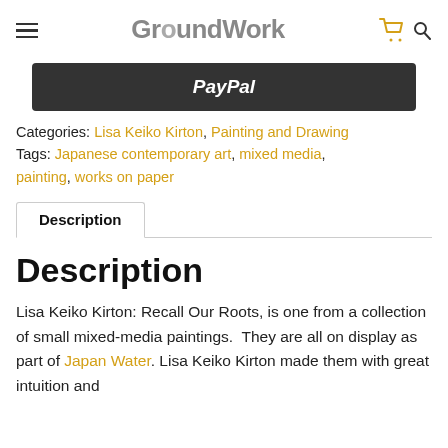GroundWork
[Figure (screenshot): PayPal dark button]
Categories: Lisa Keiko Kirton, Painting and Drawing
Tags: Japanese contemporary art, mixed media, painting, works on paper
Description
Description
Lisa Keiko Kirton: Recall Our Roots, is one from a collection of small mixed-media paintings.  They are all on display as part of Japan Water. Lisa Keiko Kirton made them with great intuition and